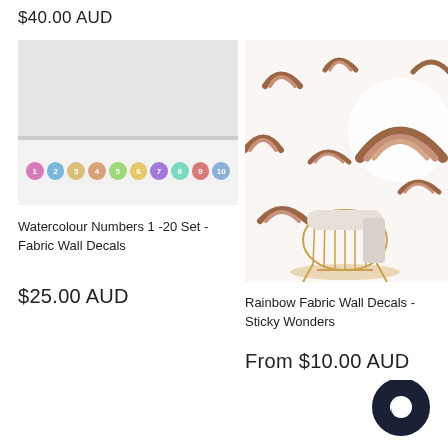$40.00 AUD
[Figure (photo): Watercolour numbered circle banner hung on a wall, showing numbers 1-20 in colourful circles]
Watercolour Numbers 1 -20 Set - Fabric Wall Decals
$25.00 AUD
[Figure (photo): Rainbow fabric wall decals on a white wall with a rattan bassinet/cot in the foreground]
Rainbow Fabric Wall Decals - Sticky Wonders
From $10.00 AUD
[Figure (other): Dark navy chat bubble / customer support icon]